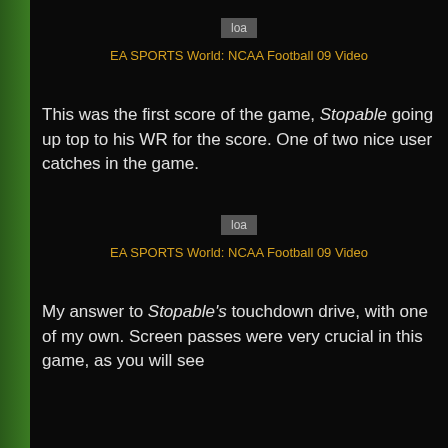[Figure (screenshot): Video thumbnail placeholder showing 'loa' label box]
EA SPORTS World: NCAA Football 09 Video
This was the first score of the game, Stopable going up top to his WR for the score. One of two nice user catches in the game.
[Figure (screenshot): Video thumbnail placeholder showing 'loa' label box]
EA SPORTS World: NCAA Football 09 Video
My answer to Stopable's touchdown drive, with one of my own. Screen passes were very crucial in this game, as you will see